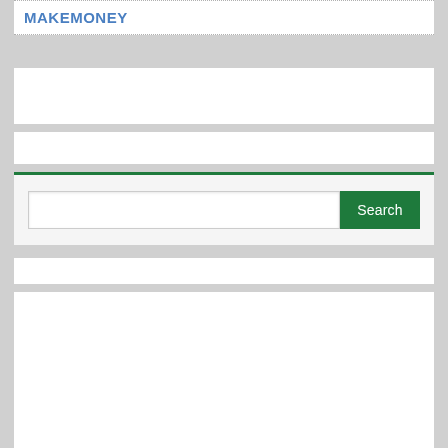MAKEMONEY
[Figure (screenshot): Empty white banner block]
[Figure (screenshot): Empty white bar]
[Figure (screenshot): Search bar with green header line and Search button]
[Figure (screenshot): Empty white bar]
[Figure (screenshot): Large empty white content block]